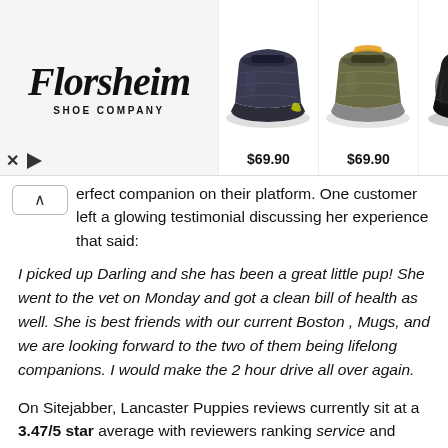[Figure (screenshot): Florsheim Shoe Company advertisement banner showing three shoes: a dark blue slip-on ($69.90), an olive/brown slip-on ($69.90), and a black loafer ($125). An X button and play button are shown in the bottom-left corner.]
perfect companion on their platform. One customer left a glowing testimonial discussing her experience that said:
I picked up Darling and she has been a great little pup! She went to the vet on Monday and got a clean bill of health as well. She is best friends with our current Boston , Mugs, and we are looking forward to the two of them being lifelong companions. I would make the 2 hour drive all over again.
On Sitejabber, Lancaster Puppies reviews currently sit at a 3.47/5 star average with reviewers ranking service and value as the top attributes of the online classified puppy platform
One customer left a Lancaster Puppies review on Sitejabber